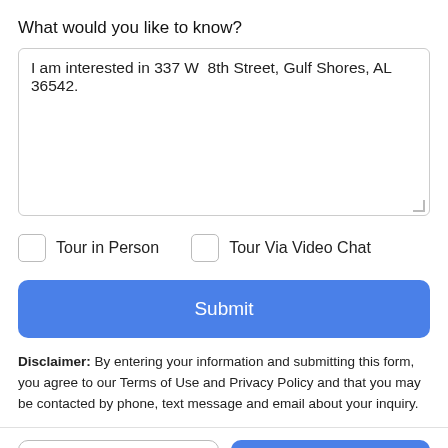What would you like to know?
I am interested in 337 W  8th Street, Gulf Shores, AL 36542.
Tour in Person
Tour Via Video Chat
Submit
Disclaimer: By entering your information and submitting this form, you agree to our Terms of Use and Privacy Policy and that you may be contacted by phone, text message and email about your inquiry.
Take a Tour
Ask A Question